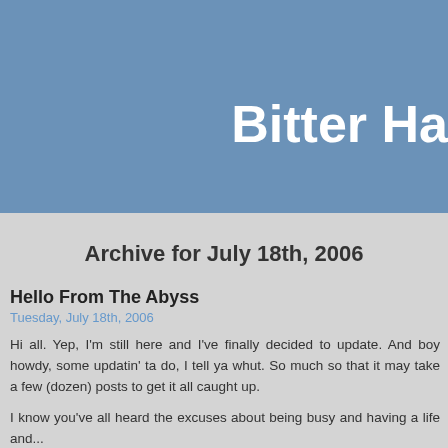Bitter Ha
Archive for July 18th, 2006
Hello From The Abyss
Tuesday, July 18th, 2006
Hi all. Yep, I'm still here and I've finally decided to update. And boy howdy, some updatin' ta do, I tell ya whut. So much so that it may take a few (dozen) posts to get it all caught up.
I know you've all heard the excuses about being busy and having a life and...